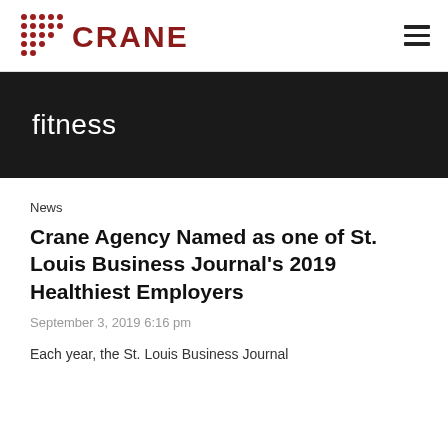[Figure (logo): Crane Agency logo with dot-grid icon and red CRANE wordmark]
fitness
News
Crane Agency Named as one of St. Louis Business Journal's 2019 Healthiest Employers
September 3, 2019 6:16 pm
Each year, the St. Louis Business Journal